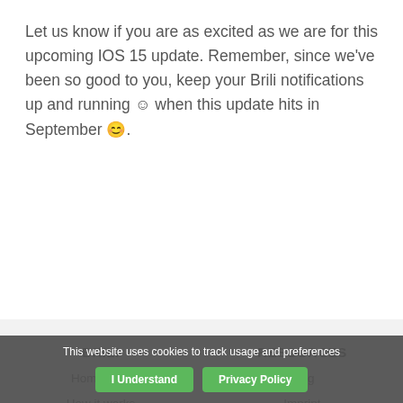Let us know if you are as excited as we are for this upcoming IOS 15 update. Remember, since we've been so good to you, keep your Brili notifications up and running ☺ when this update hits in September 😊.
BRILI
Homepage
How it works
Team
Login
RESOURCES
Blog
Imprint
Privacy Policy
Terms and Conditions
GET IN TOUCH
This website uses cookies to track usage and preferences
I Understand
Privacy Policy